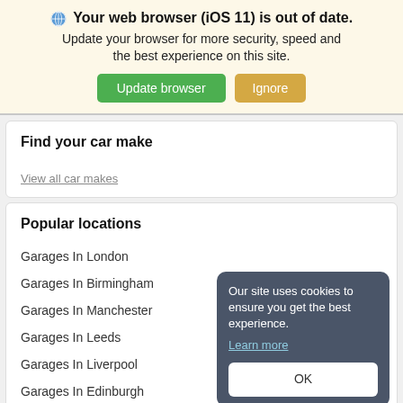Your web browser (iOS 11) is out of date. Update your browser for more security, speed and the best experience on this site.
Update browser | Ignore
Find your car make
View all car makes
Popular locations
Garages In London
Garages In Birmingham
Garages In Manchester
Garages In Leeds
Garages In Liverpool
Garages In Edinburgh
Our site uses cookies to ensure you get the best experience. Learn more OK